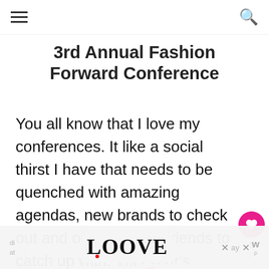≡  🔍
3rd Annual Fashion Forward Conference
You all know that I love my conferences. It like a social thirst I have that needs to be quenched with amazing agendas, new brands to check out and of course old friends to catch up with. This year's Fashion Forward Conference eve of that AND more. The organizers truly out di at